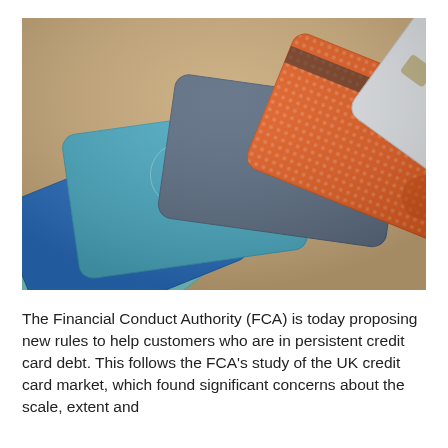[Figure (photo): A fan of credit cards spread out, showing various coloured cards including teal, blue, grey/navy, orange, and white/silver cards with rounded corners.]
The Financial Conduct Authority (FCA) is today proposing new rules to help customers who are in persistent credit card debt. This follows the FCA's study of the UK credit card market, which found significant concerns about the scale, extent and